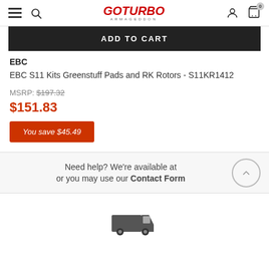GO TURBO ARMAGEDDON - navigation header with hamburger menu, search, logo, user icon, cart (0)
ADD TO CART
EBC
EBC S11 Kits Greenstuff Pads and RK Rotors - S11KR1412
MSRP: $197.32
$151.83
You save $45.49
Need help? We're available at or you may use our Contact Form
[Figure (illustration): Delivery truck icon in dark gray]